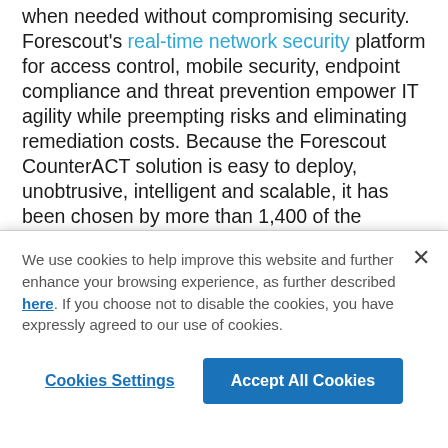when needed without compromising security. Forescout's real-time network security platform for access control, mobile security, endpoint compliance and threat prevention empower IT agility while preempting risks and eliminating remediation costs. Because the Forescout CounterACT solution is easy to deploy, unobtrusive, intelligent and scalable, it has been chosen by more than 1,400 of the world's most secure enterprises and military installations for global deployments spanning 37 countries. Headquartered in Cupertino, California, Forescout delivers its solutions through its network of
We use cookies to help improve this website and further enhance your browsing experience, as further described here. If you choose not to disable the cookies, you have expressly agreed to our use of cookies.
Cookies Settings
Accept All Cookies